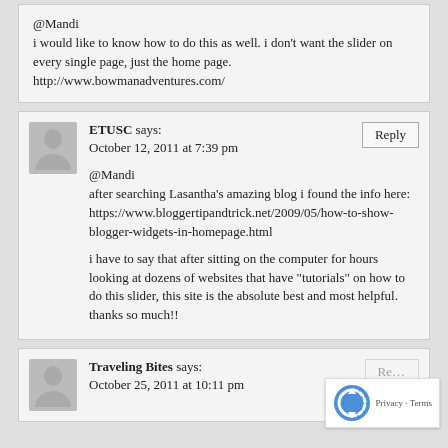@Mandi
i would like to know how to do this as well. i don't want the slider on every single page, just the home page.
http://www.bowmanadventures.com/
ETUSC says:
October 12, 2011 at 7:39 pm
@Mandi
after searching Lasantha's amazing blog i found the info here:
https://www.bloggertipandtrick.net/2009/05/how-to-show-blogger-widgets-in-homepage.html
i have to say that after sitting on the computer for hours looking at dozens of websites that have "tutorials" on how to do this slider, this site is the absolute best and most helpful. thanks so much!!
Traveling Bites says:
October 25, 2011 at 10:11 pm